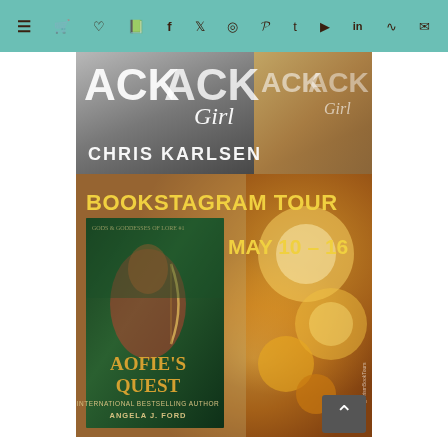[Figure (screenshot): Teal navigation bar with hamburger menu icon and social media icons including cart, heart, book, Facebook, Twitter, Instagram, Pinterest, Tumblr, YouTube, LinkedIn, RSS, and email icons]
[Figure (photo): Book banner for Chris Karlsen showing 'ACK ACK Girl' text in large white letters on a dark background with book cover and author name 'CHRIS KARLSEN' in white uppercase letters]
[Figure (photo): Bookstagram Tour promotional image for 'Aofie's Quest' by Angela J. Ford. Shows 'BOOKSTAGRAM TOUR' in yellow text, 'MAY 10 - 16' dates, book cover featuring a red-haired archer woman in fantasy setting with green forest background, title 'AOFIE'S QUEST' in gold letters, subtitle 'GODS & GODDESSES OF LORE #1', 'INTERNATIONAL BESTSELLING AUTHOR ANGELA J. FORD'. Background shows warm candlelight with orange glow. PrismBookTours watermark visible.]